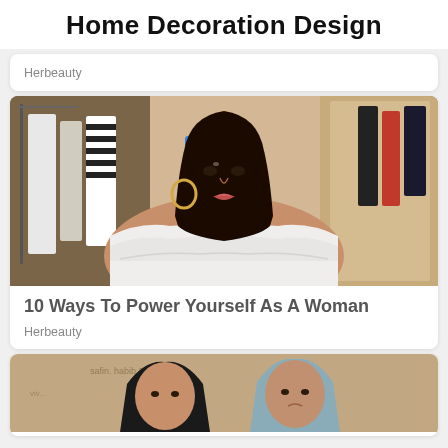Home Decoration Design
Herbeauty
[Figure (photo): A young woman with long dark hair wearing a white off-shoulder ruffled top, standing in front of a clothing rack]
10 Ways To Power Yourself As A Woman
Herbeauty
[Figure (photo): Two people wearing dark headscarves against a brown background]